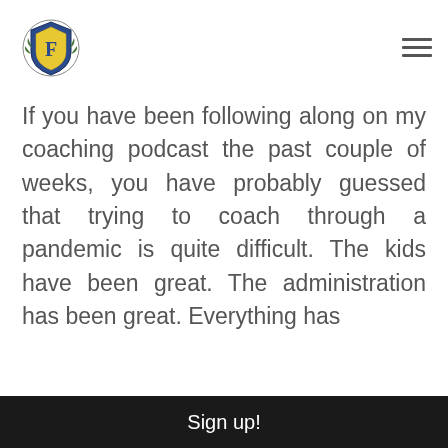[Figure (logo): School crest/shield logo with yellow shield, letter F, laurel branches, and text around the border]
If you have been following along on my coaching podcast the past couple of weeks, you have probably guessed that trying to coach through a pandemic is quite difficult. The kids have been great. The administration has been great. Everything has
Sign up!